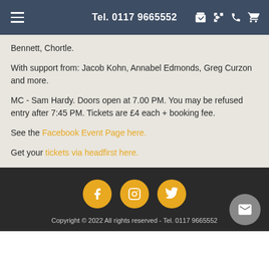Tel. 0117 9665552
Bennett, Chortle.
With support from: Jacob Kohn, Annabel Edmonds, Greg Curzon and more.
MC - Sam Hardy. Doors open at 7.00 PM. You may be refused entry after 7:45 PM. Tickets are £4 each + booking fee.
See the Facebook Event Page here.
Get your tickets via headfirst here.
Copyright © 2022 All rights reserved - Tel. 0117 9665552